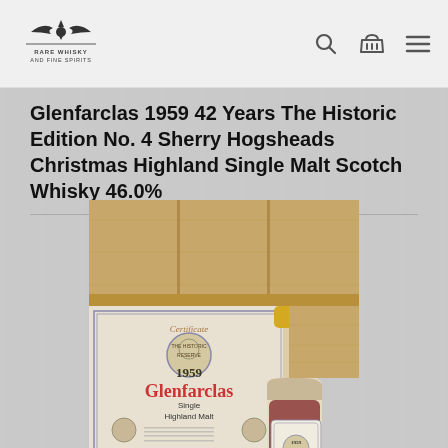RARE WHISKY AND FINE SPIRITS
Glenfarclas 1959 42 Years The Historic Edition No. 4 Sherry Hogsheads Christmas Highland Single Malt Scotch Whisky 46.0%
[Figure (photo): Product photo of Glenfarclas 1959 Single Highland Malt Scotch Whisky bottle with certificate and wooden box packaging]